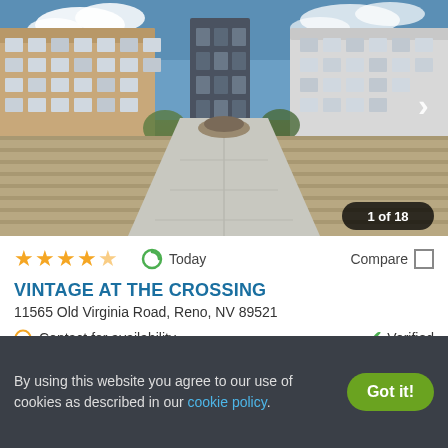[Figure (photo): Exterior photo of Vintage at the Crossing apartment complex showing a courtyard with a concrete walkway, brick pavers, and modern multi-story buildings under a blue sky. Image counter shows 1 of 18.]
★★★★★
Today
Compare
VINTAGE AT THE CROSSING
11565 Old Virginia Road, Reno, NV 89521
Contact for availability
Verified
1 BED
2 BEDS
Ask for pricing
By using this website you agree to our use of cookies as described in our cookie policy.